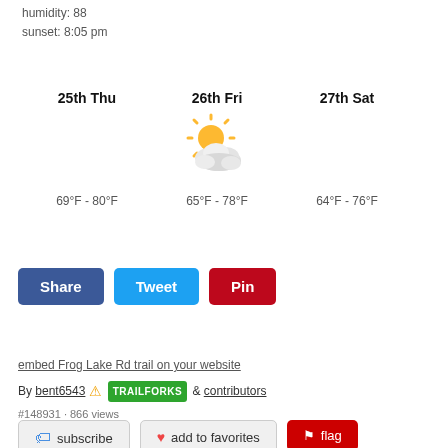humidity: 88
sunset: 8:05 pm
| 25th Thu | 26th Fri | 27th Sat |
| --- | --- | --- |
|  | [partly cloudy icon] |  |
| 69°F - 80°F | 65°F - 78°F | 64°F - 76°F |
Share
Tweet
Pin
embed Frog Lake Rd trail on your website
By bent6543 [trailforks badge] & contributors
#148931 · 866 views
subscribe
add to favorites
flag
login to download gpx or kml files.